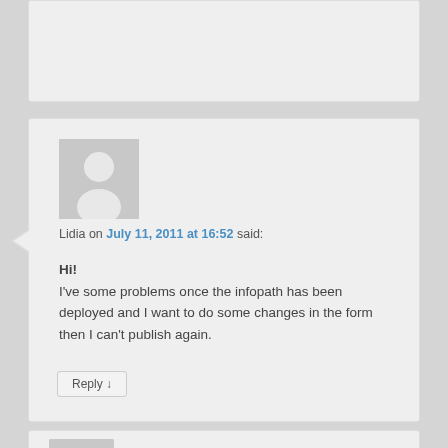[Figure (screenshot): Partial top comment card with avatar placeholder, cut off at top of page]
Lidia on July 11, 2011 at 16:52 said:
Hi!
I've some problems once the infopath has been deployed and I want to do some changes in the form then I can't publish again.
Reply ↓
[Figure (screenshot): Partial bottom comment card with avatar placeholder, cut off at bottom of page]